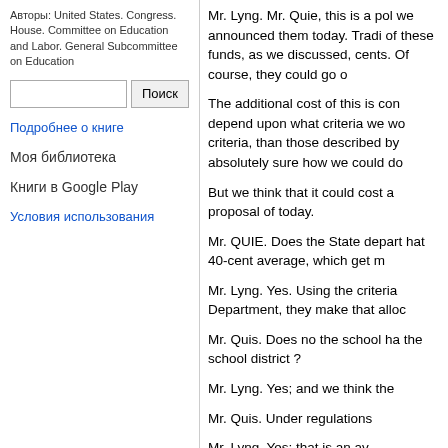Авторы: United States. Congress. House. Committee on Education and Labor. General Subcommittee on Education
Поиск
Подробнее о книге
Моя библиотека
Книги в Google Play
Условия использования
Mr. Lyng. Mr. Quie, this is a pol we announced them today. Tradi of these funds, as we discussed, cents. Of course, they could go o
The additional cost of this is con depend upon what criteria we wo criteria, than those described by absolutely sure how we could do
But we think that it could cost a proposal of today.
Mr. QUIE. Does the State depart hat 40-cent average, which get m
Mr. Lyng. Yes. Using the criteria Department, they make that alloc
Mr. Quis. Does no the school ha the school district ?
Mr. Lyng. Yes; and we think the
Mr. Quis. Under regulations
Mr. Lyng. Yes; that is an av
Mr. Qure. If you go to 6 cen